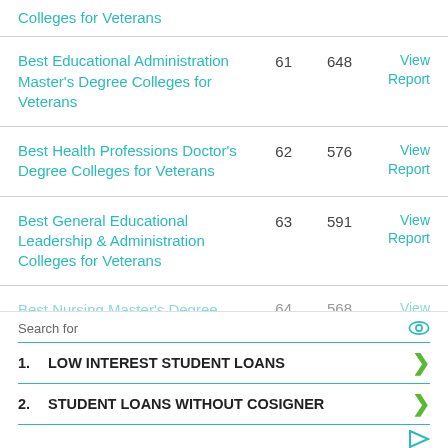Colleges for Veterans
Best Educational Administration Master's Degree Colleges for Veterans | 61 | 648 | View Report
Best Health Professions Doctor's Degree Colleges for Veterans | 62 | 576 | View Report
Best General Educational Leadership & Administration Colleges for Veterans | 63 | 591 | View Report
Best Nursing Master's Degree... | 64 | 568 | View
Search for
1. LOW INTEREST STUDENT LOANS
2. STUDENT LOANS WITHOUT COSIGNER